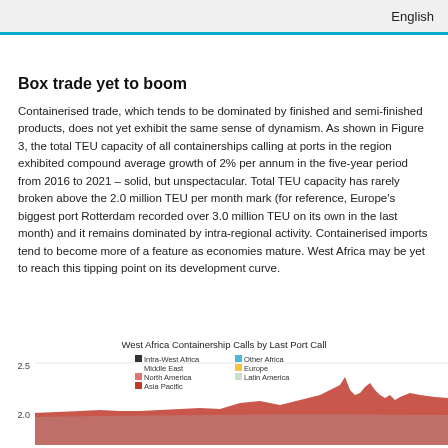English
Box trade yet to boom
Containerised trade, which tends to be dominated by finished and semi-finished products, does not yet exhibit the same sense of dynamism. As shown in Figure 3, the total TEU capacity of all containerships calling at ports in the region exhibited compound average growth of 2% per annum in the five-year period from 2016 to 2021 – solid, but unspectacular. Total TEU capacity has rarely broken above the 2.0 million TEU per month mark (for reference, Europe's biggest port Rotterdam recorded over 3.0 million TEU on its own in the last month) and it remains dominated by intra-regional activity. Containerised imports tend to become more of a feature as economies mature. West Africa may be yet to reach this tipping point on its development curve.
[Figure (area-chart): Area chart showing West Africa Containership Calls by Last Port Call, with y-axis from 2.0 to 2.5. Series include Intra-West Africa, Other Africa, Middle East, Europe, North America, Latin America, Asia Pacific. A large red area (Asia Pacific) is visible with peaks on the right side.]